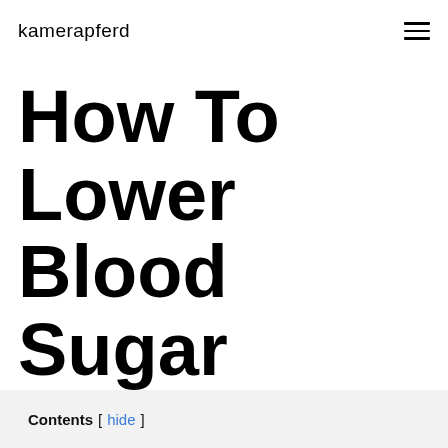kamerapferd
How To Lower Blood Sugar Levels Naturally
Contents [ hide ]